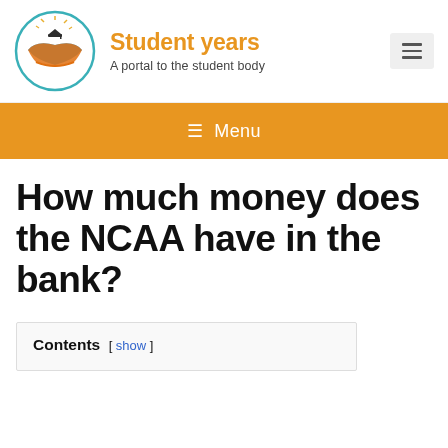[Figure (logo): Student years website logo: open book with blue pages and orange covers, with a graduation cap and sunburst above, enclosed in a teal circle]
Student years
A portal to the student body
≡ Menu
How much money does the NCAA have in the bank?
Contents [ show ]